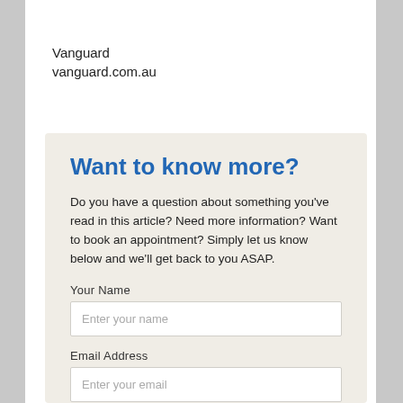Vanguard
vanguard.com.au
Want to know more?
Do you have a question about something you've read in this article? Need more information? Want to book an appointment? Simply let us know below and we'll get back to you ASAP.
Your Name
Enter your name
Email Address
Enter your email
Phone Number